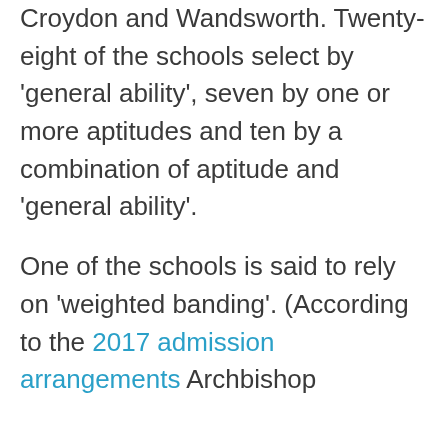Croydon and Wandsworth. Twenty-eight of the schools select by 'general ability', seven by one or more aptitudes and ten by a combination of aptitude and 'general ability'.
One of the schools is said to rely on 'weighted banding'. (According to the 2017 admission arrangements Archbishop